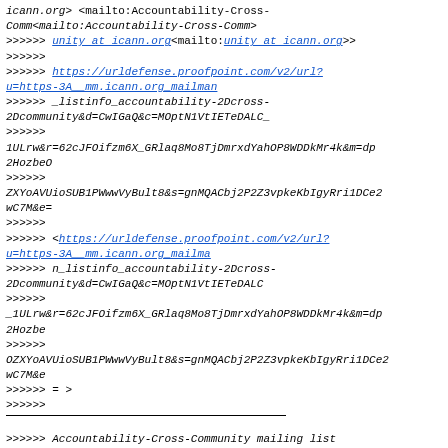icann.org> <mailto:Accountability-Cross-Comm<mailto:Accountability-Cross-Comm>
>>>>>> unity at icann.org<mailto:unity at icann.org>>
>>>>>>
>>>>>> https://urldefense.proofpoint.com/v2/url?u=https-3A__mm.icann.org_mailman
>>>>>> _listinfo_accountability-2Dcross-2Dcommunity&d=CwIGaQ&c=MOptN1VtIETeDALC_
>>>>>>
1ULrw&r=62cJFOifzm6X_GRlaq8Mo8TjDmrxdYahOP8WDDkMr4k&m=dp
2HozbeO
>>>>>>
ZXYoAVUioSUB1PWwwVyBult8&s=gnMQACbj2P2Z3vpkeKbIgyRri1DCe2
wC7M&e=
>>>>>>
>>>>>> <https://urldefense.proofpoint.com/v2/url?u=https-3A__mm.icann.org_mailma
>>>>>> n_listinfo_accountability-2Dcross-2Dcommunity&d=CwIGaQ&c=MOptN1VtIETeDALC
>>>>>>
_1ULrw&r=62cJFOifzm6X_GRlaq8Mo8TjDmrxdYahOP8WDDkMr4k&m=dp
2Hozbe
>>>>>>
OZXYoAVUioSUB1PWwwVyBult8&s=gnMQACbj2P2Z3vpkeKbIgyRri1DCe2
wC7M&e
>>>>>> = >
>>>>>>
___________________________________________
>>>>>> Accountability-Cross-Community mailing list
>>>>>>
>>>>>> Accountability-Cross-Community at
icann.org<mailto:Accountability-Cross-Community at